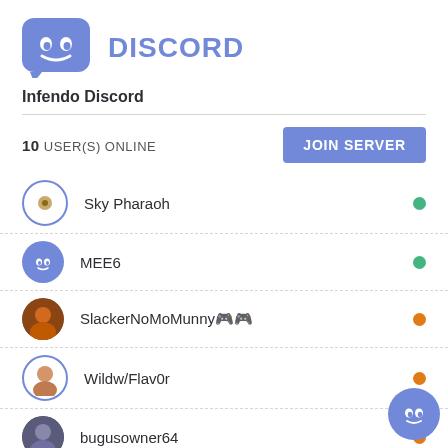[Figure (logo): Discord logo: purple speech bubble with white controller/robot face icon, and bold purple 'DISCORD' wordmark text to the right]
Infendo Discord
10 USER(S) ONLINE
JOIN SERVER
Sky Pharaoh — online (green)
MEE6 — online (green)
SlackerNoMoMunny — idle (orange)
Wildw/Flav0r — idle (orange)
bugusowner64 — idle (orange)
ColtCube — online (green)
jdpkart18 (Jamie) — idle (orange)